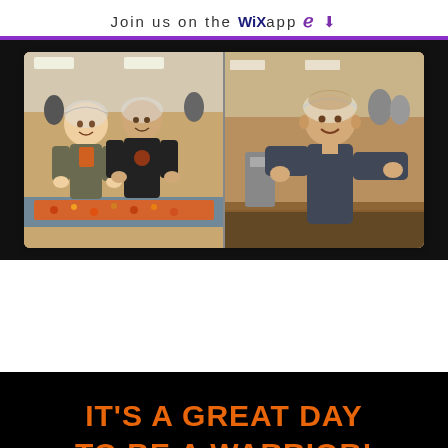Join us on the WiX app ↓
[Figure (photo): Two side-by-side photos of students wearing hair nets volunteering at a food packing event. Left photo shows a young woman and young man smiling while working with trays of food. Right photo shows a young man smiling at the camera while working at the event.]
IT'S A GREAT DAY TO BE A WARRIOR!